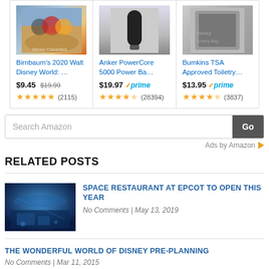[Figure (screenshot): Three Amazon product cards: Birnbaum's 2020 Walt Disney World book at $9.45 (was $19.99) with 5 stars and 2115 reviews; Anker PowerCore 5000 Power Bank at $19.97 with Prime badge and 4.5 stars and 28394 reviews; Bumkins TSA Approved Toiletry at $13.95 with Prime badge and 4.5 stars and 3837 reviews]
[Figure (screenshot): Amazon search bar with 'Search Amazon' placeholder text and 'Go' button, followed by 'Ads by Amazon' text with orange arrow logo]
RELATED POSTS
[Figure (photo): Thumbnail image of a blue-lit space restaurant interior]
SPACE RESTAURANT AT EPCOT TO OPEN THIS YEAR
No Comments | May 13, 2019
THE WONDERFUL WORLD OF DISNEY PRE-PLANNING
No Comments | Mar 11, 2015